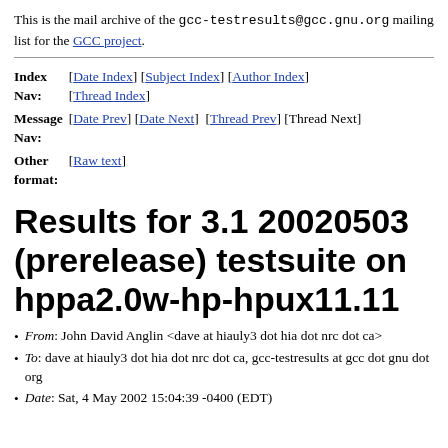This is the mail archive of the gcc-testresults@gcc.gnu.org mailing list for the GCC project.
Index Nav: [Date Index] [Subject Index] [Author Index] [Thread Index]
Message Nav: [Date Prev] [Date Next] [Thread Prev] [Thread Next]
Other format: [Raw text]
Results for 3.1 20020503 (prerelease) testsuite on hppa2.0w-hp-hpux11.11
From: John David Anglin <dave at hiauly3 dot hia dot nrc dot ca>
To: dave at hiauly3 dot hia dot nrc dot ca, gcc-testresults at gcc dot gnu dot org
Date: Sat, 4 May 2002 15:04:39 -0400 (EDT)